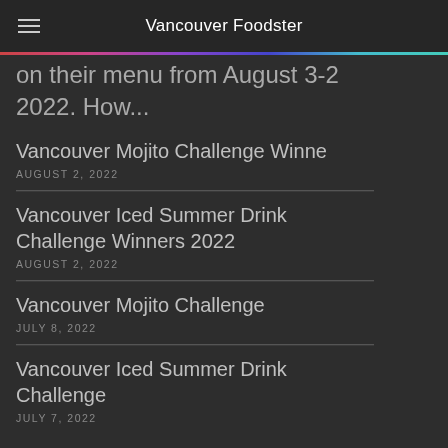Vancouver Foodster
on their menu from August 3-2 2022. How...
Vancouver Mojito Challenge Winne
AUGUST 2, 2022
Vancouver Iced Summer Drink Challenge Winners 2022
AUGUST 2, 2022
Vancouver Mojito Challenge
JULY 8, 2022
Vancouver Iced Summer Drink Challenge
JULY 7, 2022